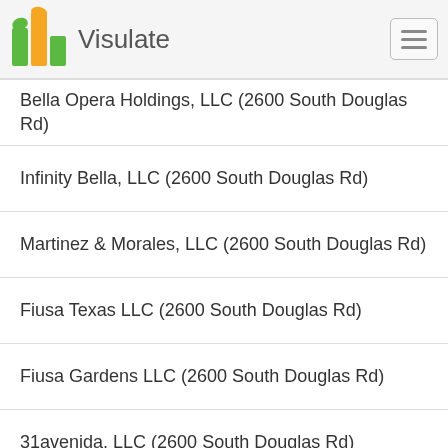Visulate
Bella Opera Holdings, LLC (2600 South Douglas Rd)
Infinity Bella, LLC (2600 South Douglas Rd)
Martinez & Morales, LLC (2600 South Douglas Rd)
Fiusa Texas LLC (2600 South Douglas Rd)
Fiusa Gardens LLC (2600 South Douglas Rd)
31avenida, LLC (2600 South Douglas Rd)
Azul 88, LLC (2600 South Douglas Rd)
Fiusa Kendall LLC (2600 South Douglas Rd)
Fiusa South Miami LLC (2600 South Douglas Rd)
Reicz LLC (2600 South Douglas Rd)